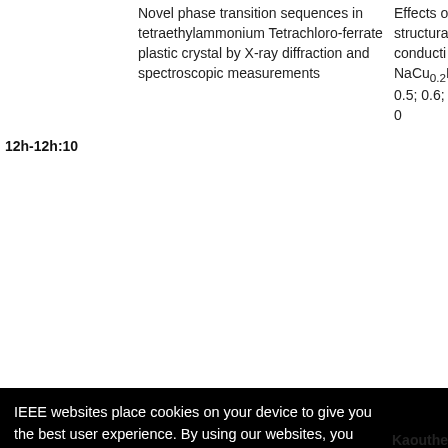12h-12h:10
Novel phase transition sequences in tetraethylammonium Tetrachloro-ferrate plastic crystal by X-ray diffraction and spectroscopic measurements
Effects of structural conducti NaCu0.2F 0.5; 0.6; 0
IEEE websites place cookies on your device to give you the best user experience. By using our websites, you agree to the placement of these cookies. To learn more, read our Privacy Policy.
Kaouther
Synthesi and diele LiNbO3 p for techr
Accept & Close
Back to Top